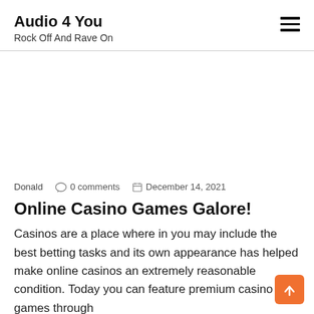Audio 4 You
Rock Off And Rave On
[Figure (other): Empty white advertisement area]
Donald   0 comments   December 14, 2021
Online Casino Games Galore!
Casinos are a place where in you may include the best betting tasks and its own appearance has helped make online casinos an extremely reasonable condition. Today you can feature premium casino games through